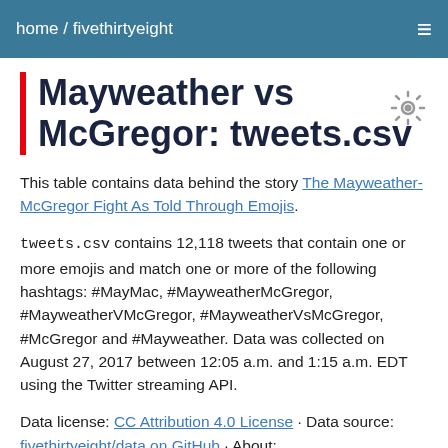home / fivethirtyeight
Mayweather vs McGregor: tweets.csv
This table contains data behind the story The Mayweather-McGregor Fight As Told Through Emojis.
tweets.csv contains 12,118 tweets that contain one or more emojis and match one or more of the following hashtags: #MayMac, #MayweatherMcGregor, #MayweatherVMcGregor, #MayweatherVsMcGregor, #McGregor and #Mayweather. Data was collected on August 27, 2017 between 12:05 a.m. and 1:15 a.m. EDT using the Twitter streaming API.
Data license: CC Attribution 4.0 License · Data source: fivethirtyeight/data on GitHub · About: